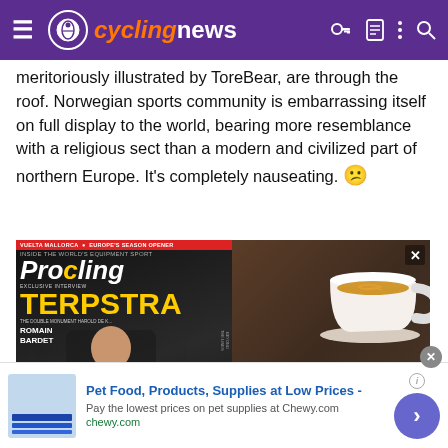cyclingnews navigation bar
meritoriously illustrated by ToreBear, are through the roof. Norwegian sports community is embarrassing itself on full display to the world, bearing more resemblance with a religious sect than a modern and civilized part of northern Europe. It's completely nauseating. 🙁
[Figure (photo): ProCycling magazine advertisement showing magazine cover with cyclist Terpstra and coffee cup, with text SAVE UP TO 32%]
[Figure (photo): Bottom advertisement banner for Chewy.com: Pet Food, Products, Supplies at Low Prices - Pay the lowest prices on pet supplies at Chewy.com]